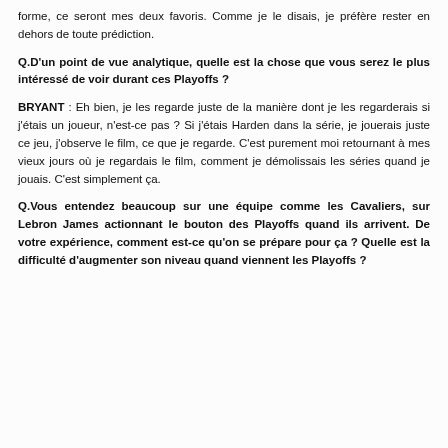forme, ce seront mes deux favoris. Comme je le disais, je préfère rester en dehors de toute prédiction.
Q.D'un point de vue analytique, quelle est la chose que vous serez le plus intéressé de voir durant ces Playoffs ?
BRYANT : Eh bien, je les regarde juste de la manière dont je les regarderais si j'étais un joueur, n'est-ce pas ? Si j'étais Harden dans la série, je jouerais juste ce jeu, j'observe le film, ce que je regarde. C'est purement moi retournant à mes vieux jours où je regardais le film, comment je démolissais les séries quand je jouais. C'est simplement ça.
Q.Vous entendez beaucoup sur une équipe comme les Cavaliers, sur Lebron James actionnant le bouton des Playoffs quand ils arrivent. De votre expérience, comment est-ce qu'on se prépare pour ça ? Quelle est la difficulté d'augmenter son niveau quand viennent les Playoffs ?